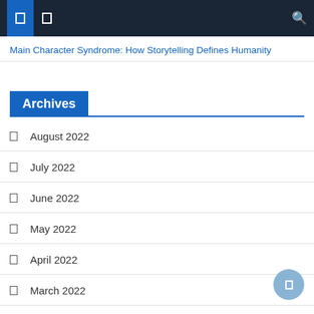Navigation bar with icons and search
Main Character Syndrome: How Storytelling Defines Humanity
Archives
August 2022
July 2022
June 2022
May 2022
April 2022
March 2022